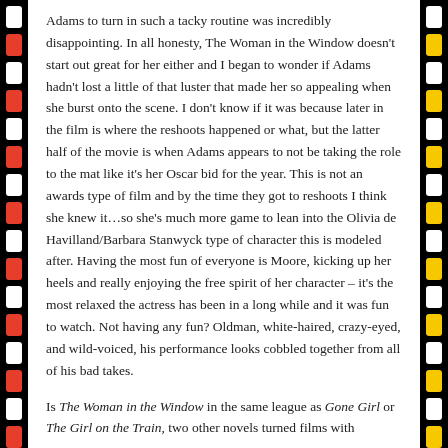Adams to turn in such a tacky routine was incredibly disappointing.  In all honesty, The Woman in the Window doesn't start out great for her either and I began to wonder if Adams hadn't lost a little of that luster that made her so appealing when she burst onto the scene.  I don't know if it was because later in the film is where the reshoots happened or what, but the latter half of the movie is when Adams appears to not be taking the role to the mat like it's her Oscar bid for the year.  This is not an awards type of film and by the time they got to reshoots I think she knew it…so she's much more game to lean into the Olivia de Havilland/Barbara Stanwyck type of character this is modeled after.  Having the most fun of everyone is Moore, kicking up her heels and really enjoying the free spirit of her character – it's the most relaxed the actress has been in a long while and it was fun to watch.  Not having any fun?  Oldman, white-haired, crazy-eyed, and wild-voiced, his performance looks cobbled together from all of his bad takes.
Is The Woman in the Window in the same league as Gone Girl or The Girl on the Train, two other novels turned films with